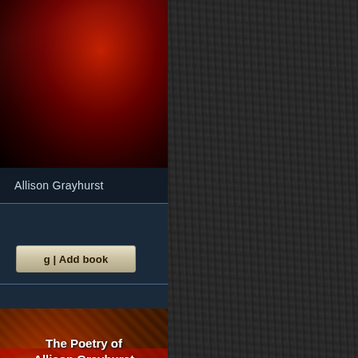[Figure (screenshot): Book listing page showing author Allison Grayhurst with a dark red book cover image at top, author name bar, blue navigation panel with 'g | Add book' button, and a bottom book cover for 'The Poetry of Allison Grayhurst - completed works from 2018 to 2021 (Volume 7)'. Right side shows dark textured bark/stone background.]
Allison Grayhurst
g | Add book
The Poetry of Allison Grayhurst
- completed works from 2018 to 2021 (Volume 7)